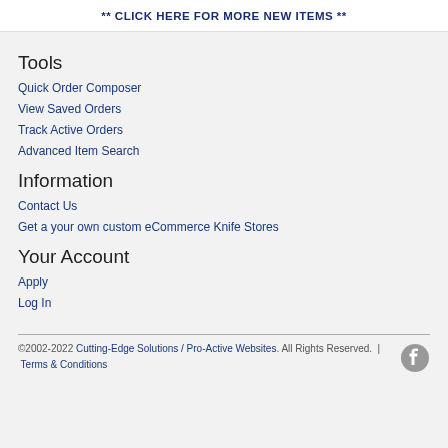** CLICK HERE FOR MORE NEW ITEMS **
Tools
Quick Order Composer
View Saved Orders
Track Active Orders
Advanced Item Search
Information
Contact Us
Get a your own custom eCommerce Knife Stores
Your Account
Apply
Log In
©2002-2022 Cutting-Edge Solutions / Pro-Active Websites. All Rights Reserved.  |  Terms & Conditions